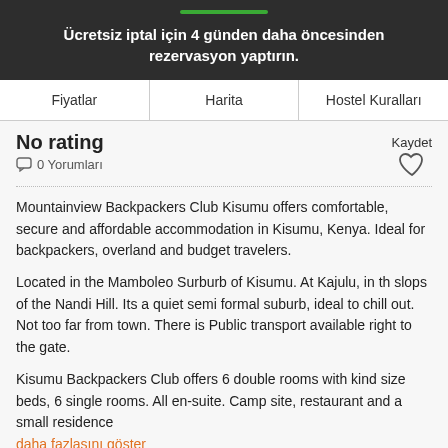Ücretsiz iptal için 4 günden daha öncesinden rezervasyon yaptırın.
Fiyatlar | Harita | Hostel Kuralları
No rating
0 Yorumları
Kaydet
Mountainview Backpackers Club Kisumu offers comfortable, secure and affordable accommodation in Kisumu, Kenya. Ideal for backpackers, overland and budget travelers.
Located in the Mamboleo Surburb of Kisumu. At Kajulu, in th slops of the Nandi Hill. Its a quiet semi formal suburb, ideal to chill out. Not too far from town. There is Public transport available right to the gate.
Kisumu Backpackers Club offers 6 double rooms with kind size beds, 6 single rooms. All en-suite. Camp site, restaurant and a small residence daha fazlasını göster